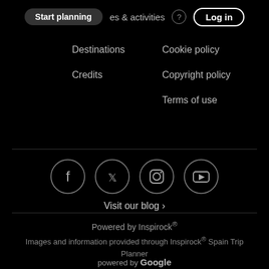Start planning  experiences & activities  Log in
Destinations
Credits
Cookie policy
Copyright policy
Terms of use
[Figure (illustration): Social media icons in circles: Facebook, Twitter, Instagram, YouTube]
Visit our blog ›
Powered by Inspirock®
Images and information provided through Inspirock® Spain Trip Planner
powered by Google